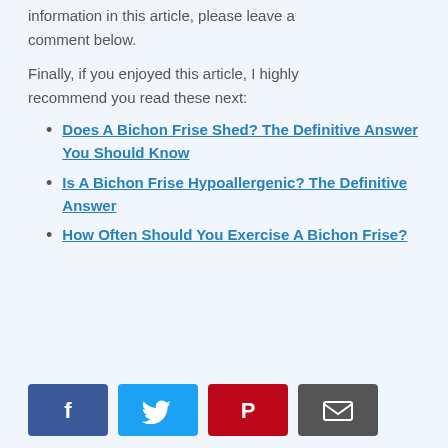information in this article, please leave a comment below.
Finally, if you enjoyed this article, I highly recommend you read these next:
Does A Bichon Frise Shed? The Definitive Answer You Should Know
Is A Bichon Frise Hypoallergenic? The Definitive Answer
How Often Should You Exercise A Bichon Frise?
[Figure (infographic): Social sharing buttons: Facebook (blue), Twitter (light blue), Pinterest (red), Email (dark gray)]